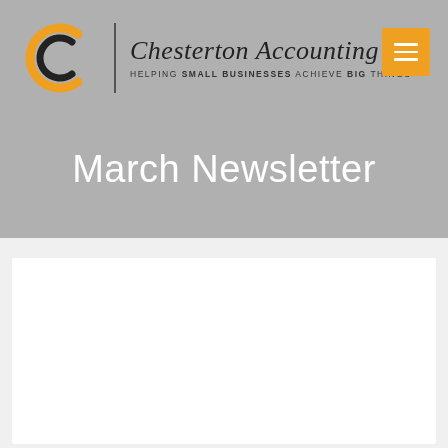[Figure (logo): Chesterton Accounting logo with orange and black circular 'a' lettermark, vertical divider, company name in italic script, and tagline 'Helping Small Businesses Achieve Big Things']
March Newsletter
[Figure (illustration): Decorative image showing the word MARCH in large brush-painted teal/dark green letters with a painted texture effect]